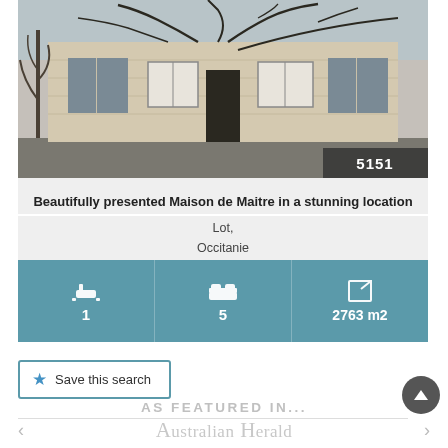[Figure (photo): Exterior photo of a French stone Maison de Maitre building with bare climbing vines on facade, shuttered windows, and a dark doorway entrance. Winter/early spring scene with bare trees.]
5151
Beautifully presented Maison de Maitre in a stunning location
Lot,
Occitanie
1
5
2763 m2
Save this search
AS FEATURED IN...
[Figure (logo): Australian Herald newspaper logo — 'Australian Herald' in serif font with tagline 'National news for the nation']